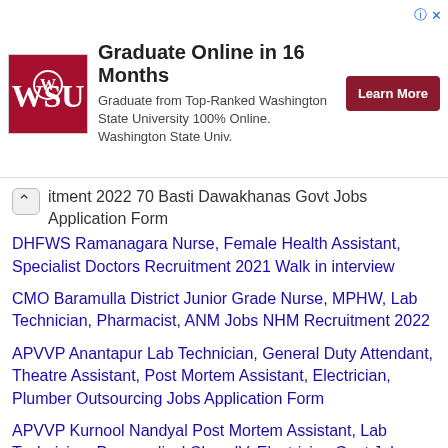[Figure (advertisement): Ad banner: WSU logo, 'Graduate Online in 16 Months', text about Top-Ranked Washington State University 100% Online, and a red 'Learn More' button]
itment 2022 70 Basti Dawakhanas Govt Jobs Application Form
DHFWS Ramanagara Nurse, Female Health Assistant, Specialist Doctors Recruitment 2021 Walk in interview
CMO Baramulla District Junior Grade Nurse, MPHW, Lab Technician, Pharmacist, ANM Jobs NHM Recruitment 2022
APVVP Anantapur Lab Technician, General Duty Attendant, Theatre Assistant, Post Mortem Assistant, Electrician, Plumber Outsourcing Jobs Application Form
APVVP Kurnool Nandyal Post Mortem Assistant, Lab Technician, Paramedical Class IV, Electrician Govt Jobs 2022
CMOH Alipurdar District Staff Nurse, Medical Officer